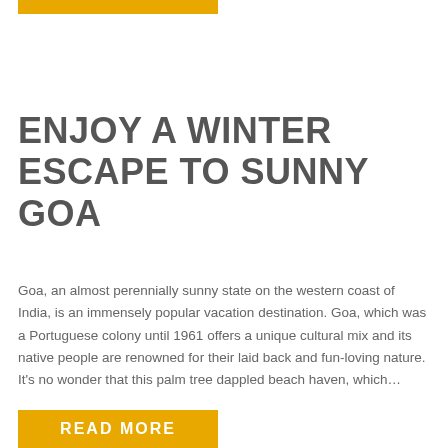[Figure (other): Orange decorative bar at the top of the page]
ENJOY A WINTER ESCAPE TO SUNNY GOA
Goa, an almost perennially sunny state on the western coast of India, is an immensely popular vacation destination. Goa, which was a Portuguese colony until 1961 offers a unique cultural mix and its native people are renowned for their laid back and fun-loving nature. It's no wonder that this palm tree dappled beach haven, which…
READ MORE